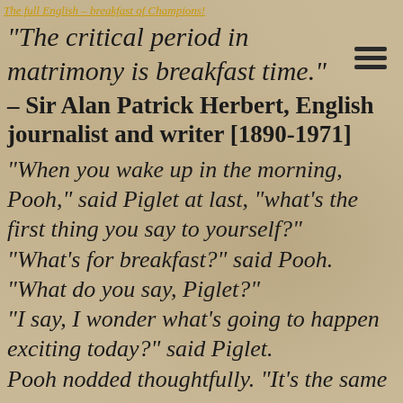The full English – breakfast of Champions!
“The critical period in matrimony is breakfast time.”
– Sir Alan Patrick Herbert, English journalist and writer [1890-1971]
“When you wake up in the morning, Pooh,” said Piglet at last, “what’s the first thing you say to yourself?” “What’s for breakfast?” said Pooh. “What do you say, Piglet?” “I say, I wonder what’s going to happen exciting today?” said Piglet. Pooh nodded thoughtfully. “It’s the same
[Figure (other): Hamburger menu icon (three horizontal lines)]